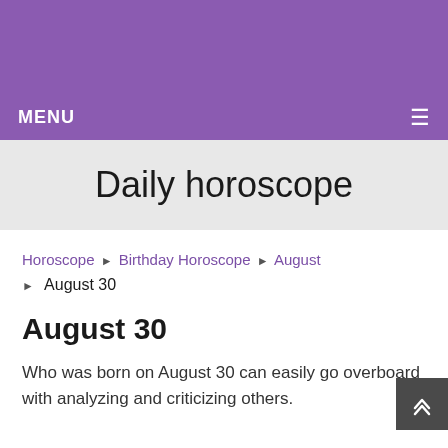MENU ≡
Daily horoscope
Horoscope ▶ Birthday Horoscope ▶ August ▶ August 30
August 30
Who was born on August 30 can easily go overboard with analyzing and criticizing others.